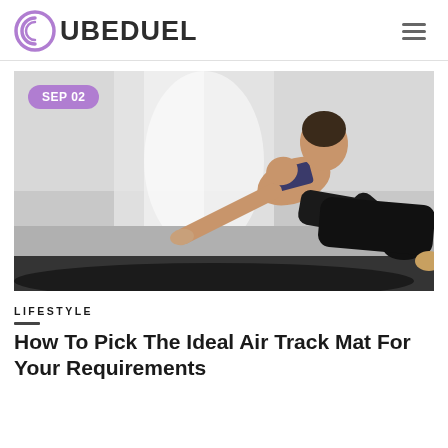CUBEDUEL
[Figure (photo): Woman in workout clothes doing a plank/mountain climber exercise on a dark-edged yoga/exercise mat in a bright studio. Date badge reads SEP 02.]
SEP 02
LIFESTYLE
How To Pick The Ideal Air Track Mat For Your Requirements